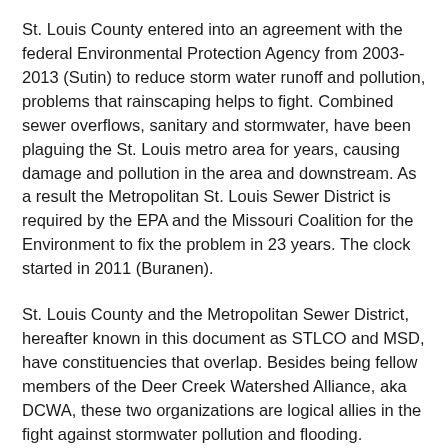St. Louis County entered into an agreement with the federal Environmental Protection Agency from 2003-2013 (Sutin) to reduce storm water runoff and pollution, problems that rainscaping helps to fight. Combined sewer overflows, sanitary and stormwater, have been plaguing the St. Louis metro area for years, causing damage and pollution in the area and downstream. As a result the Metropolitan St. Louis Sewer District is required by the EPA and the Missouri Coalition for the Environment to fix the problem in 23 years. The clock started in 2011 (Buranen).
St. Louis County and the Metropolitan Sewer District, hereafter known in this document as STLCO and MSD, have constituencies that overlap. Besides being fellow members of the Deer Creek Watershed Alliance, aka DCWA, these two organizations are logical allies in the fight against stormwater pollution and flooding.